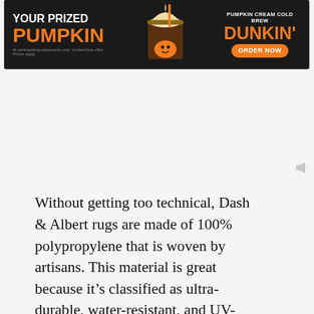[Figure (screenshot): Dunkin' Pumpkin Cream Cold Brew advertisement banner at top of page. Dark background with orange text reading YOUR PRIZED PUMPKIN on left, image of cold brew drink in center, DUNKIN' ORDER NOW on right.]
Without getting too technical, Dash & Albert rugs are made of 100% polypropylene that is woven by artisans. This material is great because it’s classified as ultra-durable, water-resistant, and UV-treated. That means when you’ve invested in a rug you love, it will actually stay the color you want! We have a LOT of windows in the cabin, so I’m really pleased to know I won’t have to worry about fading from the sun.
LOW PROFILE
[Figure (screenshot): Dunkin' Pumpkin Cream Cold Brew advertisement banner at bottom of page, partially overlapping text. Same design as top banner.]